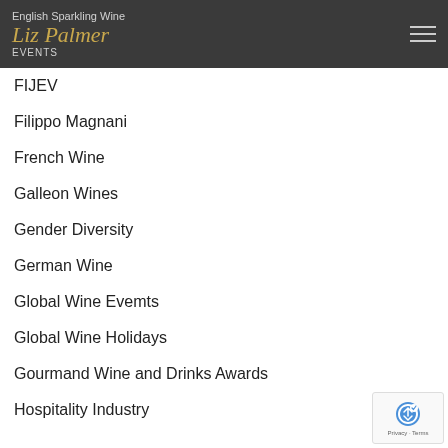English Sparkling Wine
Liz Palmer
EVENTS
FIJEV
Filippo Magnani
French Wine
Galleon Wines
Gender Diversity
German Wine
Global Wine Evemts
Global Wine Holidays
Gourmand Wine and Drinks Awards
Hospitality Industry
[Figure (logo): reCAPTCHA privacy badge with recaptcha icon and Privacy - Terms text]